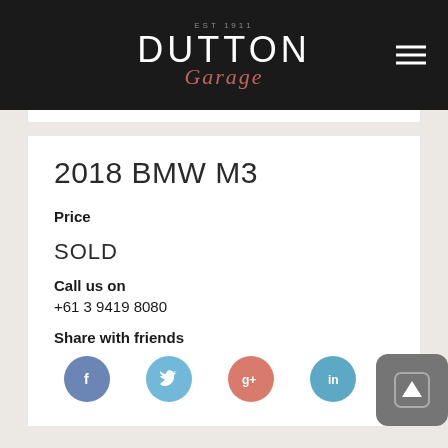EST 1911 DUTTON Garage
2018 BMW M3
Price
SOLD
Call us on
+61 3 9419 8080
Share with friends
[Figure (illustration): Social media share icons: Facebook (blue), Twitter (light blue), Google+ (red/pink), LinkedIn (blue)]